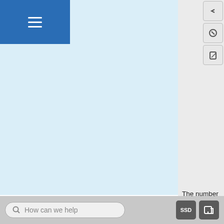Repetitive waves
The number of crests or identical pieces that occur in a wave during a time of one second, f⁻¹